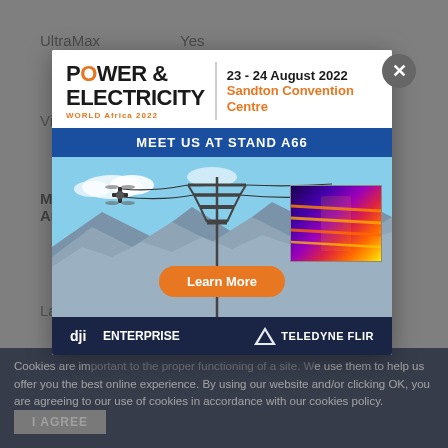| UltraMax |  | Yes |
Viewing
Measurement
Analysis
Language
Measure
[Figure (infographic): Power & Electricity World Africa 2022 advertisement popup. Event on 23-24 August 2022 at Sandton Convention Centre. Text: MEET US AT STAND A66. Image shows a drone near power lines with a thermal camera overlay. Learn More button. Logos: DJI Enterprise and Teledyne FLIR. Close button (X) in top right.]
Cookies are important to the proper functioning of a site. We use them to help us offer you the best online experience. By using our website and/or clicking OK, you are agreeing to our use of cookies in accordance with our cookies policy.
I AGREE